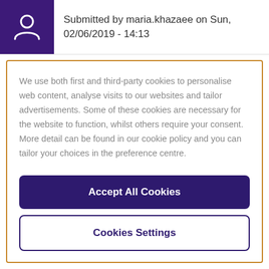Submitted by maria.khazaee on Sun, 02/06/2019 - 14:13
We use both first and third-party cookies to personalise web content, analyse visits to our websites and tailor advertisements. Some of these cookies are necessary for the website to function, whilst others require your consent. More detail can be found in our cookie policy and you can tailor your choices in the preference centre.
Accept All Cookies
Cookies Settings